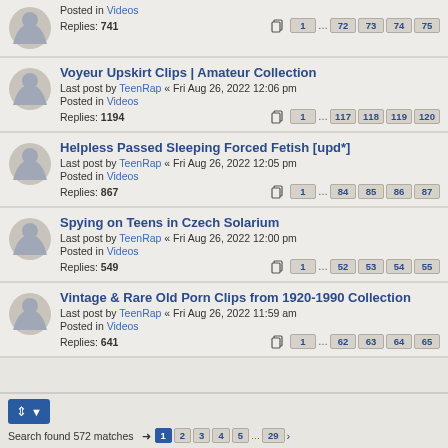Replies: 741, Posted in Videos, pages 1 ... 72 73 74 75
Voyeur Upskirt Clips | Amateur Collection, Last post by TeenRap « Fri Aug 26, 2022 12:06 pm, Posted in Videos, Replies: 1194, pages 1 ... 117 118 119 120
Helpless Passed Sleeping Forced Fetish [upd*], Last post by TeenRap « Fri Aug 26, 2022 12:05 pm, Posted in Videos, Replies: 867, pages 1 ... 84 85 86 87
Spying on Teens in Czech Solarium, Last post by TeenRap « Fri Aug 26, 2022 12:00 pm, Posted in Videos, Replies: 549, pages 1 ... 52 53 54 55
Vintage & Rare Old Porn Clips from 1920-1990 Collection, Last post by TeenRap « Fri Aug 26, 2022 11:59 am, Posted in Videos, Replies: 641, pages 1 ... 62 63 64 65
Search found 572 matches, pages 1 2 3 4 5 ... 29 >